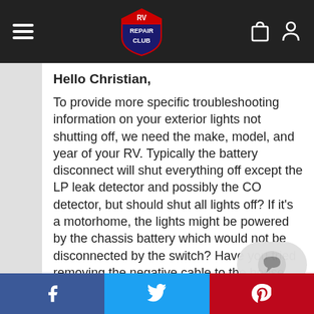RV Repair Club navigation bar
Hello Christian,
To provide more specific troubleshooting information on your exterior lights not shutting off, we need the make, model, and year of your RV. Typically the battery disconnect will shut everything off except the LP leak detector and possibly the CO detector, but should shut all lights off? If it’s a motorhome, the lights might be powered by the chassis battery which would not be disconnected by the switch? Have you tried removing the negative cable to the house batteries? It’s possible someone has rewired these lights directly to the batteries due issue with a short in a wire somewhere easier to just run a new positive or negative wire
Facebook Twitter Pinterest social share bar